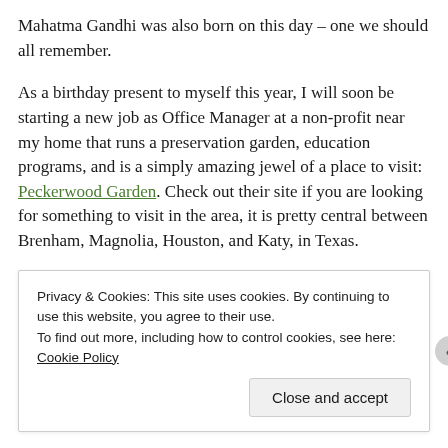Mahatma Gandhi was also born on this day – one we should all remember.
As a birthday present to myself this year, I will soon be starting a new job as Office Manager at a non-profit near my home that runs a preservation garden, education programs, and is a simply amazing jewel of a place to visit: Peckerwood Garden. Check out their site if you are looking for something to visit in the area, it is pretty central between Brenham, Magnolia, Houston, and Katy, in Texas.
Now, for some other important figures from history:
Privacy & Cookies: This site uses cookies. By continuing to use this website, you agree to their use.
To find out more, including how to control cookies, see here: Cookie Policy
Close and accept